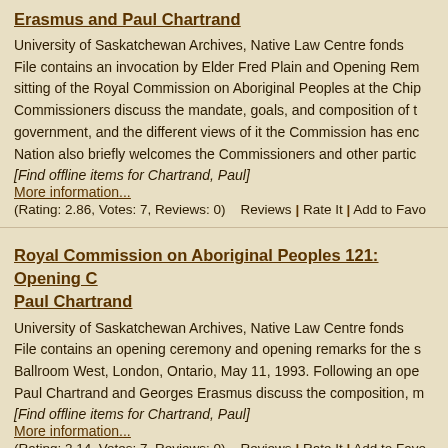Erasmus and Paul Chartrand
University of Saskatchewan Archives, Native Law Centre fonds File contains an invocation by Elder Fred Plain and Opening Remarks sitting of the Royal Commission on Aboriginal Peoples at the Chip Commissioners discuss the mandate, goals, and composition of t government, and the different views of it the Commission has enc Nation also briefly welcomes the Commissioners and other partic
[Find offline items for Chartrand, Paul]
More information...
(Rating: 2.86, Votes: 7, Reviews: 0)    Reviews | Rate It | Add to Favo
Royal Commission on Aboriginal Peoples 121: Opening C Paul Chartrand
University of Saskatchewan Archives, Native Law Centre fonds File contains an opening ceremony and opening remarks for the s Ballroom West, London, Ontario, May 11, 1993. Following an ope Paul Chartrand and Georges Erasmus discuss the composition, m
[Find offline items for Chartrand, Paul]
More information...
(Rating: 2.14, Votes: 7, Reviews: 0)    Reviews | Rate It | Add to Favo
Royal Commission on Aboriginal Peoples: Opening Rema
University of Saskatchewan Archives, Native Law Centre fonds This file contains opening remarks by Georges Erasmus and Pau